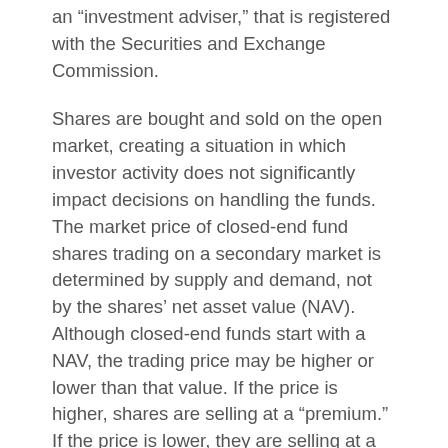an “investment adviser,” that is registered with the Securities and Exchange Commission.
Shares are bought and sold on the open market, creating a situation in which investor activity does not significantly impact decisions on handling the funds. The market price of closed-end fund shares trading on a secondary market is determined by supply and demand, not by the shares’ net asset value (NAV). Although closed-end funds start with a NAV, the trading price may be higher or lower than that value. If the price is higher, shares are selling at a “premium.” If the price is lower, they are selling at a “discount.”
If you are considering investing in a closed-end fund, there are some things to be aware of. Closed-end funds have broker trading fees and are considered riskier than open-ended mutual funds. They can invest in a greater amount of illiquid securities and can use leveraging methods usually avoided by